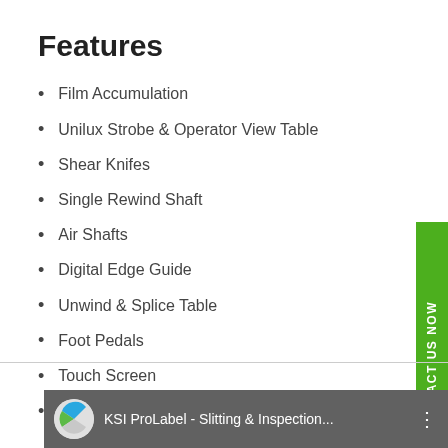Features
Film Accumulation
Unilux Strobe & Operator View Table
Shear Knifes
Single Rewind Shaft
Air Shafts
Digital Edge Guide
Unwind & Splice Table
Foot Pedals
Touch Screen
Web Gripper
[Figure (other): Green vertical tab on right side reading CONTACT US NOW]
KSI ProLabel - Slitting & Inspection...